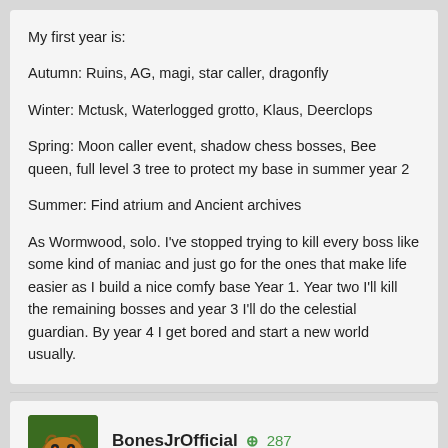My first year is:

Autumn: Ruins, AG, magi, star caller, dragonfly

Winter: Mctusk, Waterlogged grotto, Klaus, Deerclops

Spring: Moon caller event, shadow chess bosses, Bee queen, full level 3 tree to protect my base in summer year 2

Summer: Find atrium and Ancient archives

As Wormwood, solo. I've stopped trying to kill every boss like some kind of maniac and just go for the ones that make life easier as I build a nice comfy base Year 1. Year two I'll kill the remaining bosses and year 3 I'll do the celestial guardian. By year 4 I get bored and start a new world usually.
BonesJrOfficial  287  Posted May 14
Autumn: Bee Queen. Eye of Terror. Lunar Island for kelp/stone fruit. Bee Boxes. Pig farm.